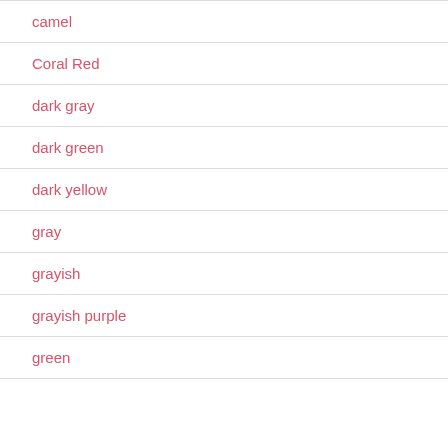camel
Coral Red
dark gray
dark green
dark yellow
gray
grayish
grayish purple
green